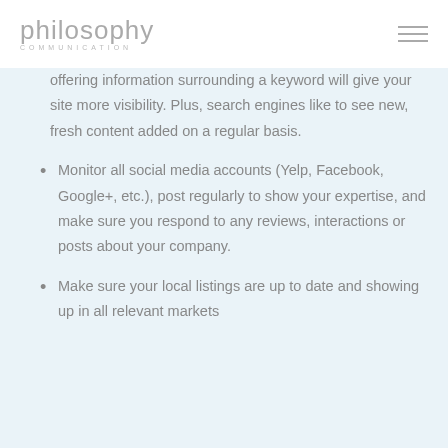philosophy COMMUNICATION
offering information surrounding a keyword will give your site more visibility. Plus, search engines like to see new, fresh content added on a regular basis.
Monitor all social media accounts (Yelp, Facebook, Google+, etc.), post regularly to show your expertise, and make sure you respond to any reviews, interactions or posts about your company.
Make sure your local listings are up to date and showing up in all relevant markets